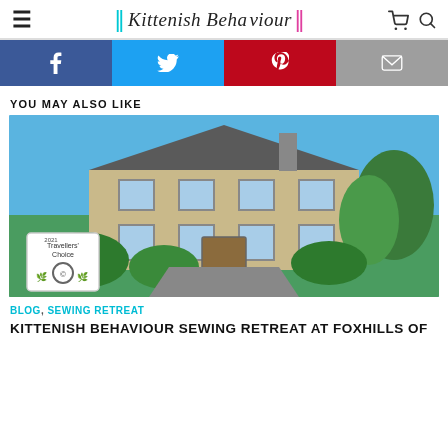≡ | Kittenish Behaviour | 🛒 🔍
[Figure (infographic): Social share buttons: Facebook (blue), Twitter (light blue), Pinterest (red), Email (grey)]
YOU MAY ALSO LIKE
[Figure (photo): Exterior photo of a large Victorian-style house (Foxhills) on a sunny day with blue sky, green trees and shrubs, and a Travellers' Choice award sign in the foreground.]
BLOG, SEWING RETREAT
KITTENISH BEHAVIOUR SEWING RETREAT AT FOXHILLS OF